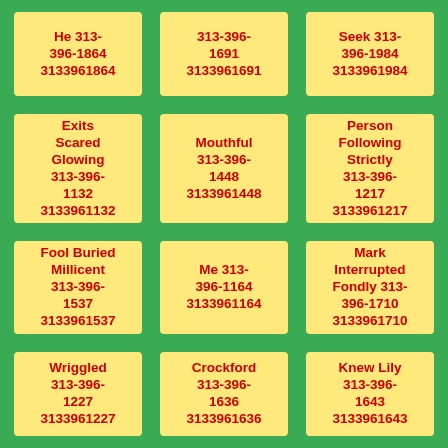He 313-396-1864 3133961864
313-396-1691 3133961691
Seek 313-396-1984 3133961984
Exits Scared Glowing 313-396-1132 3133961132
Mouthful 313-396-1448 3133961448
Person Following Strictly 313-396-1217 3133961217
Fool Buried Millicent 313-396-1537 3133961537
Me 313-396-1164 3133961164
Mark Interrupted Fondly 313-396-1710 3133961710
Wriggled 313-396-1227 3133961227
Crockford 313-396-1636 3133961636
Knew Lily 313-396-1643 3133961643